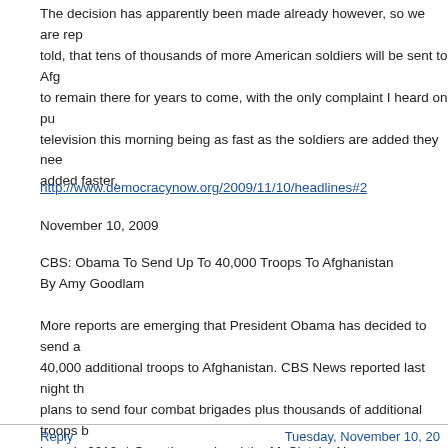The decision has apparently been made already however, so we are rep told, that tens of thousands of more American soldiers will be sent to Afg to remain there for years to come, with the only complaint I heard on pu television this morning being as fast as the soldiers are added they nee added faster.
http://www.democracynow.org/2009/11/10/headlines#2
November 10, 2009
CBS: Obama To Send Up To 40,000 Troops To Afghanistan
By Amy Goodlam
More reports are emerging that President Obama has decided to send a 40,000 additional troops to Afghanistan. CBS News reported last night th plans to send four combat brigades plus thousands of additional troops b in early 2010. * Over the weekend the McClatchy Newspapers reported would send 34,000 more troops. ** The White House is denying these re claiming that the president has not yet made a final decision.
* http://www.cbsnews.com/stories/2009/11/09/world/main5592551.shtml
** http://www.mcclatchydc.com/227/story/78516.html
Reply    Tuesday, November 10, 20